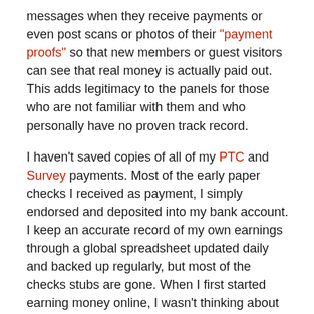messages when they receive payments or even post scans or photos of their "payment proofs" so that new members or guest visitors can see that real money is actually paid out. This adds legitimacy to the panels for those who are not familiar with them and who personally have no proven track record.
I haven't saved copies of all of my PTC and Survey payments. Most of the early paper checks I received as payment, I simply endorsed and deposited into my bank account. I keep an accurate record of my own earnings through a global spreadsheet updated daily and backed up regularly, but most of the checks stubs are gone. When I first started earning money online, I wasn't thinking about the benefit of documenting my payment proofs. I didn't know I would eventually create this web site and need proofs to demonstrate legitimate earnings to others. So there will be some noticeable omissions in my initial payment proofs.